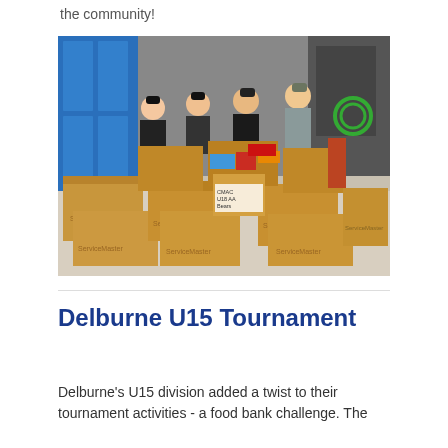the community!
[Figure (photo): Four young people standing behind a large pile of cardboard boxes labeled ServiceMaster filled with food bank donations, in what appears to be a sports facility or arena storage area with blue lockers in the background.]
Delburne U15 Tournament
Delburne's U15 division added a twist to their tournament activities - a food bank challenge. The